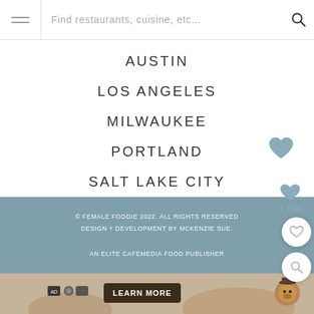Find restaurants, cuisine, etc...
AUSTIN
LOS ANGELES
MILWAUKEE
PORTLAND
SALT LAKE CITY
SEATTLE
© FEMALE FOODIE 2022. ALL RIGHTS RESERVED. DESIGN + DEVELOPMENT BY MCKENZIE SUE. AN ELITE CAFEMEDIA FOOD PUBLISHER
[Figure (screenshot): Advertisement banner with learn more button and bear character]